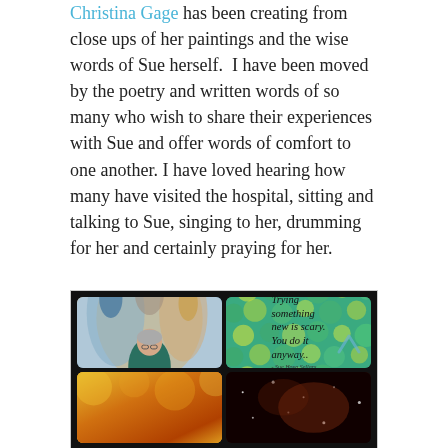Christina Gage has been creating from close ups of her paintings and the wise words of Sue herself.  I have been moved by the poetry and written words of so many who wish to share their experiences with Sue and offer words of comfort to one another. I have loved hearing how many have visited the hospital, sitting and talking to Sue, singing to her, drumming for her and certainly praying for her.
[Figure (photo): A 2x2 grid of images on a dark background. Top-left: a person standing in front of a colorful mural with angels. Top-right: a teal/green background with circular bubble patterns and a quote in cursive: 'Trying something new is scary. You do it anyway..' attributed to Sue Hoya Sellars. Bottom-left: a warm orange/yellow background with cursive text 'Make mistakes'. Bottom-right: a dark space-like background with cursive text 'To be an artist'.]